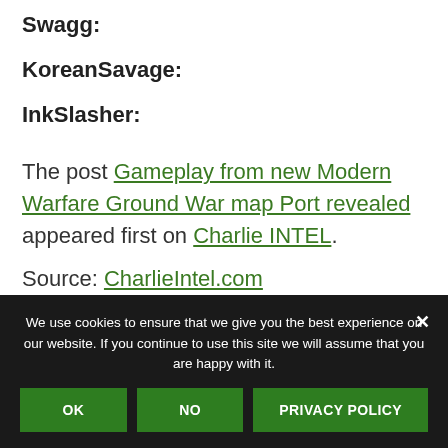Swagg:
KoreanSavage:
InkSlasher:
The post Gameplay from new Modern Warfare Ground War map Port revealed appeared first on Charlie INTEL.
Source: CharlieIntel.com
We use cookies to ensure that we give you the best experience on our website. If you continue to use this site we will assume that you are happy with it.